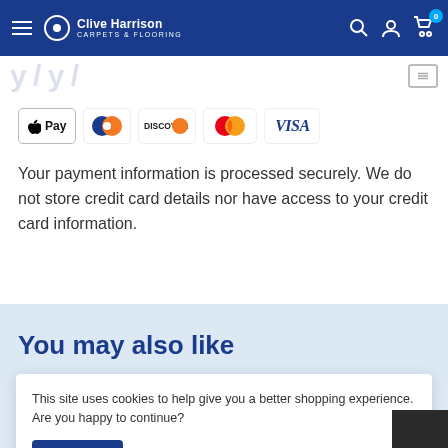Clive Harrison Carpets & Flooring
[Figure (screenshot): Payment method icons: Apple Pay, Diners Club, Discover, Mastercard, Visa]
Your payment information is processed securely. We do not store credit card details nor have access to your credit card information.
You may also like
This site uses cookies to help give you a better shopping experience. Are you happy to continue?